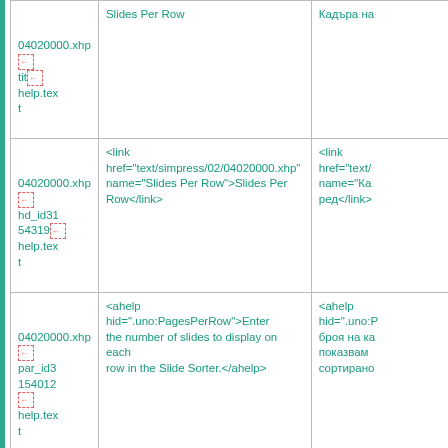| ID | English | Bulgarian |
| --- | --- | --- |
| 04020000.xhp
[icon]
tit[icon]
help.text | Slides Per Row | Кадъра на |
| 04020000.xhp[icon]
hd_id31
54319[icon]
help.text | <link href="text/simpress/02/04020000.xhp" name="Slides Per Row">Slides Per Row</link> | <link href="text/s... name="Ка...
ред</link> |
| 04020000.xhp[icon]
par_id3
154012
[icon]
help.text | <ahelp hid=".uno:PagesPerRow">Enter the number of slides to display on each row in the Slide Sorter.</ahelp> | <ahelp hid=".uno:P...
броя на ка...
показвам...
сортиране... |